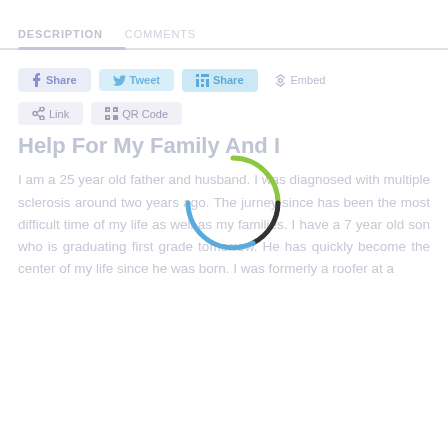DESCRIPTION    COMMENTS
[Figure (infographic): Share buttons row: Facebook Share (blue-gray), Twitter Tweet (light blue), LinkedIn Share (blue), and Embed button]
[Figure (infographic): Link and QR Code buttons row]
[Figure (other): Circular loading spinner with green, dark gray, and blue arc segments]
Help For My Family And I
I am a 25 year old father and husband. I was diagnosed with multiple sclerosis around two years ago. The jurney since has been the most difficult time of my life as well as my families. I have a 7 year old son who is graduating first grade tomorrow. He has quickly become the center of my life since he was born. I was formerly a roofer at a